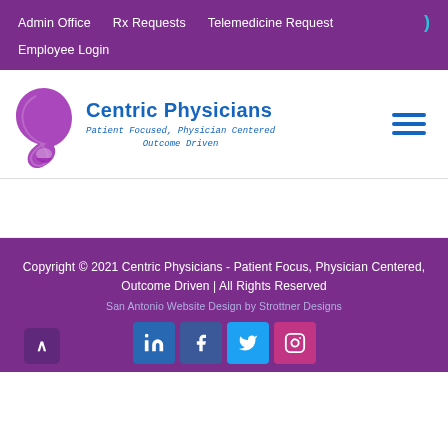Admin Office  |  Rx Requests  |  Telemedicine Request  |  Employee Login
[Figure (logo): Centric Physicians logo: stylized purple figure with blue text reading 'Centric Physicians' and tagline 'Patient Focused, Physician Centered Outcome Driven']
Copyright © 2021 Centric Physicians - Patient Focus, Physician Centered, Outcome Driven | All Rights Reserved
San Antonio Website Design by Strottner Designs